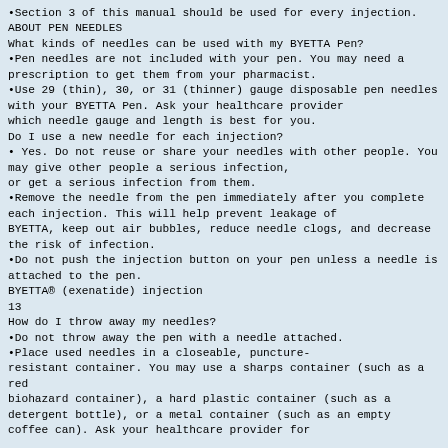•Section 3 of this manual should be used for every injection.
ABOUT PEN NEEDLES
What kinds of needles can be used with my BYETTA Pen?
•Pen needles are not included with your pen. You may need a prescription to get them from your pharmacist.
•Use 29 (thin), 30, or 31 (thinner) gauge disposable pen needles with your BYETTA Pen. Ask your healthcare provider which needle gauge and length is best for you.
Do I use a new needle for each injection?
• Yes. Do not reuse or share your needles with other people. You may give other people a serious infection, or get a serious infection from them.
•Remove the needle from the pen immediately after you complete each injection. This will help prevent leakage of BYETTA, keep out air bubbles, reduce needle clogs, and decrease the risk of infection.
•Do not push the injection button on your pen unless a needle is attached to the pen.
BYETTA® (exenatide) injection
13
How do I throw away my needles?
•Do not throw away the pen with a needle attached.
•Place used needles in a closeable, puncture-resistant container. You may use a sharps container (such as a red biohazard container), a hard plastic container (such as a detergent bottle), or a metal container (such as an empty coffee can). Ask your healthcare provider for